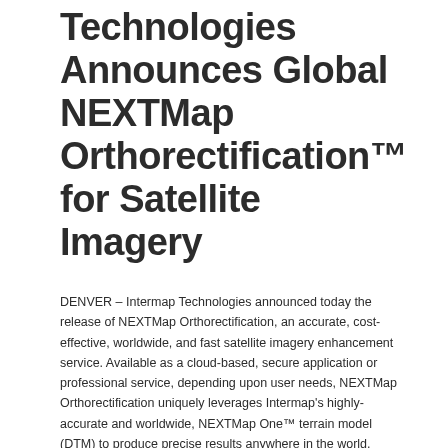Technologies Announces Global NEXTMap Orthorectification™ for Satellite Imagery
DENVER – Intermap Technologies announced today the release of NEXTMap Orthorectification, an accurate, cost-effective, worldwide, and fast satellite imagery enhancement service. Available as a cloud-based, secure application or professional service, depending upon user needs, NEXTMap Orthorectification uniquely leverages Intermap's highly-accurate and worldwide, NEXTMap One™ terrain model (DTM) to produce precise results anywhere in the world.